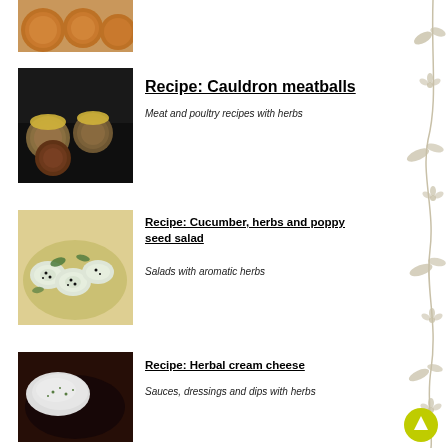[Figure (photo): Top partial photo of orange-glazed round pastries or dumplings on a white plate]
[Figure (photo): Cauldron meatballs on a dark pan with yellow topping]
Recipe: Cauldron meatballs
Meat and poultry recipes with herbs
[Figure (photo): Cucumber, herbs and poppy seed salad in a bowl]
Recipe: Cucumber, herbs and poppy seed salad
Salads with aromatic herbs
[Figure (photo): Herbal cream cheese on a spoon in a dark dish]
Recipe: Herbal cream cheese
Sauces, dressings and dips with herbs